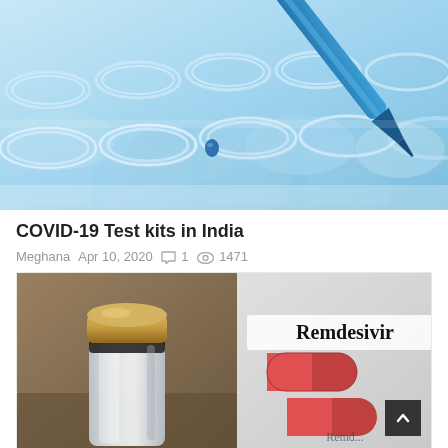[Figure (photo): Close-up photo of a blue pipette dropping liquid into clear laboratory test tubes/vials, with a blue-tinted background]
COVID-19 Test kits in India
Meghana  Apr 10, 2020  💬 1  👁 1471
[Figure (photo): Photo showing two images side by side: left is a medicine vial with gold cap, right shows a 'Remdesivir' labeled medication package]